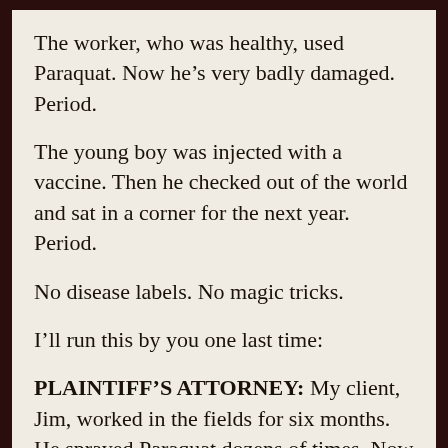The worker, who was healthy, used Paraquat. Now he’s very badly damaged. Period.
The young boy was injected with a vaccine. Then he checked out of the world and sat in a corner for the next year. Period.
No disease labels. No magic tricks.
I’ll run this by you one last time:
PLAINTIFF’S ATTORNEY: My client, Jim, worked in the fields for six months. He sprayed Paraquat dozens of times. Now here, as you can see from the brain scans, he then experienced a loss of